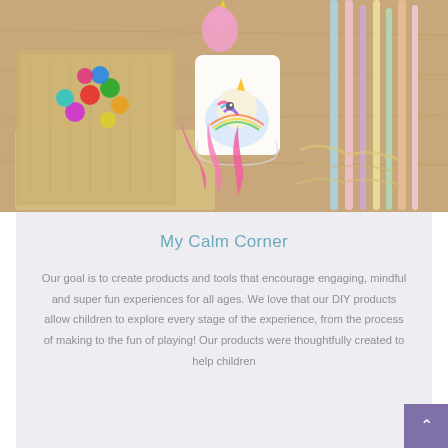[Figure (photo): A craft kit photo showing unicorn-themed items: colorful beads, pink feathers, a unicorn sticker/figure, pastel ribbons, and a burlap bag with decorative materials on a wooden surface.]
My Calm Corner
Our goal is to create products and tools that encourage engaging, mindful and super fun experiences for all ages. We love that our DIY products allow children to explore every stage of the experience, from the process of making to the fun of playing! Our products were thoughtfully created to help children